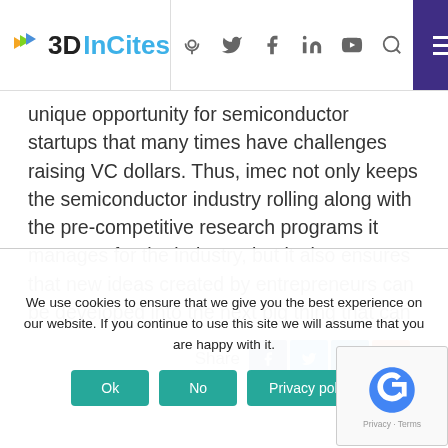3DInCites [navigation header with logo and icons]
unique opportunity for semiconductor startups that many times have challenges raising VC dollars. Thus, imec not only keeps the semiconductor industry rolling along with the pre-competitive research programs it manages for the industry, but it also ensures that new ideas created by entrepreneurs can be developed into the next big thing that can benefit the IC industry.
[Figure (other): Share bar with Facebook, Twitter, LinkedIn, and + social sharing buttons]
We use cookies to ensure that we give you the best experience on our website. If you continue to use this site we will assume that you are happy with it.
[Figure (other): reCAPTCHA verification widget - Privacy - Terms]